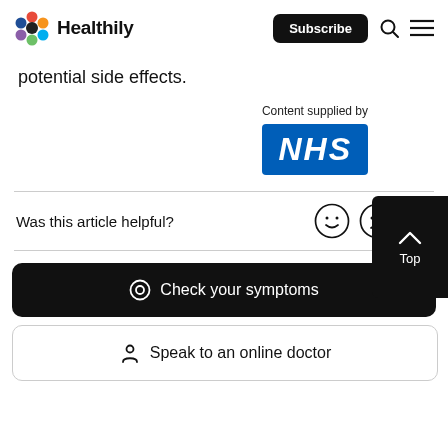Healthily | Subscribe
potential side effects.
[Figure (logo): NHS logo – white italic NHS text on blue rectangular background with caption 'Content supplied by']
Was this article helpful?
Check your symptoms
Speak to an online doctor